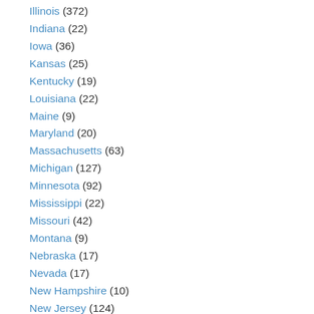Illinois (372)
Indiana (22)
Iowa (36)
Kansas (25)
Kentucky (19)
Louisiana (22)
Maine (9)
Maryland (20)
Massachusetts (63)
Michigan (127)
Minnesota (92)
Mississippi (22)
Missouri (42)
Montana (9)
Nebraska (17)
Nevada (17)
New Hampshire (10)
New Jersey (124)
New Mexico (16)
New York (130)
North Carolina (88)
North Dakota (9)